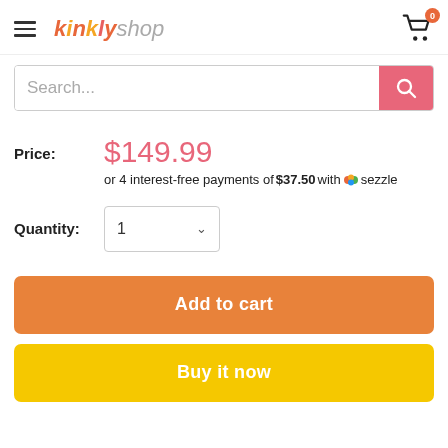[Figure (screenshot): Kinkly Shop e-commerce page header with hamburger menu, logo, and cart icon]
Search...
Price: $149.99 or 4 interest-free payments of $37.50 with Sezzle
Quantity: 1
Add to cart
Buy it now